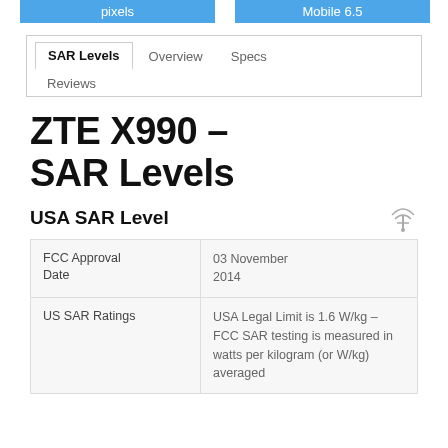pixels | Mobile 6.5
SAR Levels   Overview   Specs   Reviews
ZTE X990 - SAR Levels
USA SAR Level
|  |  |
| --- | --- |
| FCC Approval Date | 03 November 2014 |
| US SAR Ratings | USA Legal Limit is 1.6 W/kg – FCC SAR testing is measured in watts per kilogram (or W/kg) averaged |